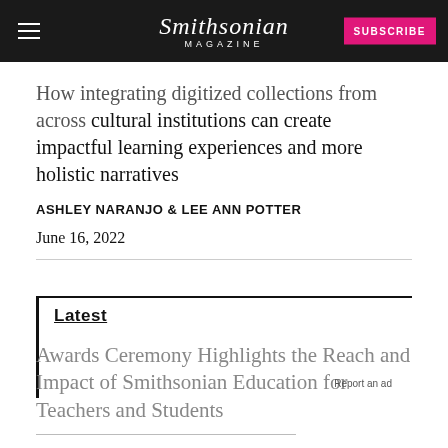Smithsonian MAGAZINE
How integrating digitized collections from across cultural institutions can create impactful learning experiences and more holistic narratives
ASHLEY NARANJO & LEE ANN POTTER
June 16, 2022
LATEST
Awards Ceremony Highlights the Reach and Impact of Smithsonian Education for Teachers and Students